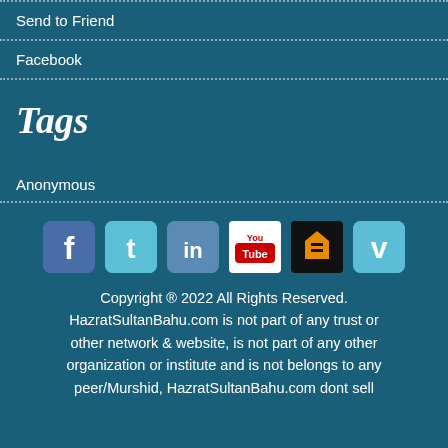Send to Friend
Facebook
Tags
Anonymous
[Figure (infographic): Social media icons row: Facebook, Twitter, LinkedIn, YouTube, Flattr, Vimeo]
Copyright ® 2022 All Rights Reserved. HazratSultanBahu.com is not part of any trust or other network & website, is not part of any other organization or institute and is not belongs to any peer/Murshid, HazratSultanBahu.com dont sell